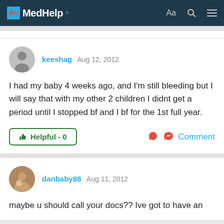MedHelp
keeshag Aug 12, 2012
I had my baby 4 weeks ago, and I'm still bleeding but I will say that with my other 2 children I didnt get a period until I stopped bf and I bf for the 1st full year.
Helpful - 0  Comment
danbaby88 Aug 11, 2012
maybe u should call your docs?? Ive got to have an